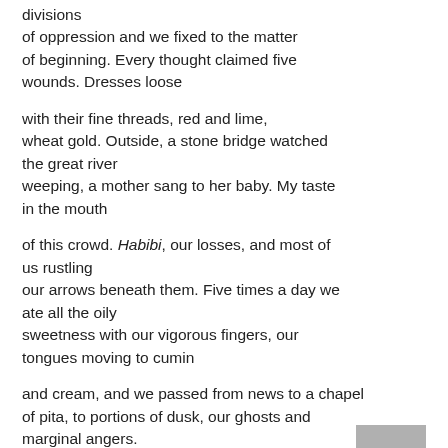divisions
of oppression and we fixed to the matter
of beginning. Every thought claimed five
wounds. Dresses loose
with their fine threads, red and lime,
wheat gold. Outside, a stone bridge watched
the great river
weeping, a mother sang to her baby. My taste
in the mouth
of this crowd. Habibi, our losses, and most of
us rustling
our arrows beneath them. Five times a day we
ate all the oily
sweetness with our vigorous fingers, our
tongues moving to cumin
and cream, and we passed from news to a chapel
of pita, to portions of dusk, our ghosts and
marginal angers.
I took 48 photos of shadows in quick
succession,
thinking one better than another, and saw in